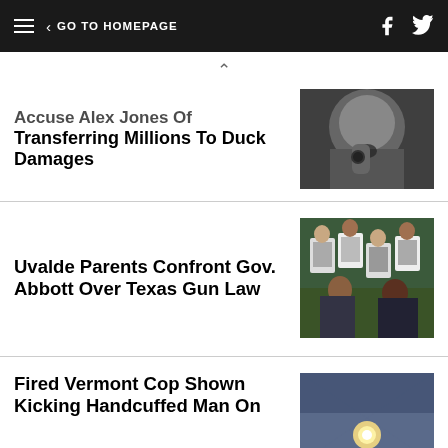≡  < GO TO HOMEPAGE
Accuse Alex Jones Of Transferring Millions To Duck Damages
[Figure (photo): Close-up photo of Alex Jones speaking into a microphone, mouth open, bearded.]
Uvalde Parents Confront Gov. Abbott Over Texas Gun Law
[Figure (photo): Group of people holding up portrait photos at an outdoor vigil or protest, related to Uvalde shooting.]
Fired Vermont Cop Shown Kicking Handcuffed Man On
[Figure (photo): Indoor ceiling scene with a light source visible, partial image.]